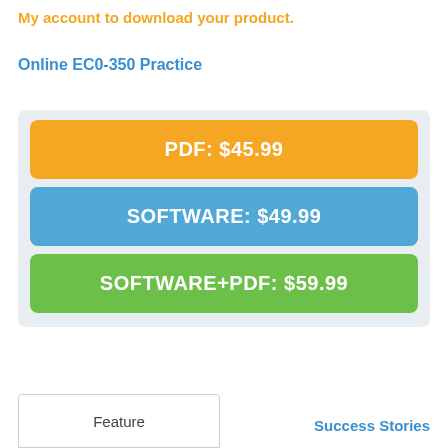My account to download your product.
Online EC0-350 Practice
PDF: $45.99
SOFTWARE: $49.99
SOFTWARE+PDF: $59.99
Feature
Success Stories